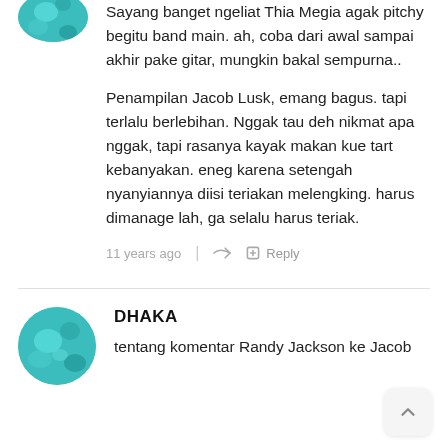[Figure (photo): Circular avatar image with teal/cyan abstract background, partially cropped at top]
Sayang banget ngeliat Thia Megia agak pitchy begitu band main. ah, coba dari awal sampai akhir pake gitar, mungkin bakal sempurna..
Penampilan Jacob Lusk, emang bagus. tapi terlalu berlebihan. Nggak tau deh nikmat apa nggak, tapi rasanya kayak makan kue tart kebanyakan. eneg karena setengah nyanyiannya diisi teriakan melengking. harus dimanage lah, ga selalu harus teriak.
11 years ago | Reply
[Figure (photo): Circular avatar image with teal/cyan abstract background]
DHAKA
tentang komentar Randy Jackson ke Jacob